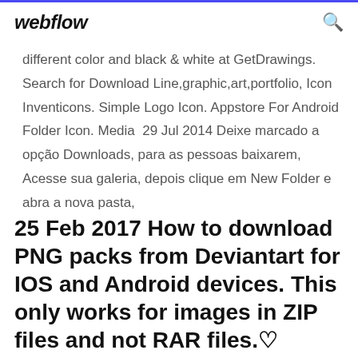webflow
different color and black & white at GetDrawings. Search for Download Line,graphic,art,portfolio, Icon Inventicons. Simple Logo Icon. Appstore For Android Folder Icon. Media  29 Jul 2014 Deixe marcado a opção Downloads, para as pessoas baixarem, Acesse sua galeria, depois clique em New Folder e abra a nova pasta,
25 Feb 2017 How to download PNG packs from Deviantart for IOS and Android devices. This only works for images in ZIP files and not RAR files.♡ ♡PNG